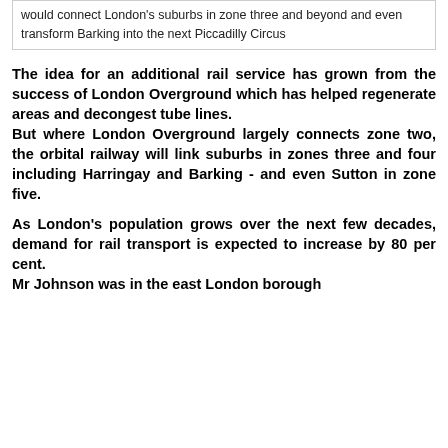The Mayor of London's plan for a £23bn orbital railway would connect London's suburbs in zone three and beyond and even transform Barking into the next Piccadilly Circus
The idea for an additional rail service has grown from the success of London Overground which has helped regenerate areas and decongest tube lines. But where London Overground largely connects zone two, the orbital railway will link suburbs in zones three and four including Harringay and Barking - and even Sutton in zone five.
As London's population grows over the next few decades, demand for rail transport is expected to increase by 80 per cent. Mr Johnson was in the east London borough